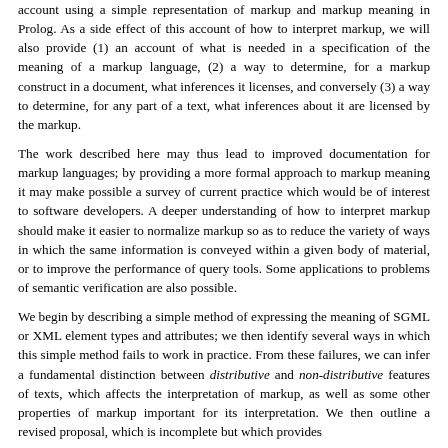account using a simple representation of markup and markup meaning in Prolog. As a side effect of this account of how to interpret markup, we will also provide (1) an account of what is needed in a specification of the meaning of a markup language, (2) a way to determine, for a markup construct in a document, what inferences it licenses, and conversely (3) a way to determine, for any part of a text, what inferences about it are licensed by the markup.
The work described here may thus lead to improved documentation for markup languages; by providing a more formal approach to markup meaning it may make possible a survey of current practice which would be of interest to software developers. A deeper understanding of how to interpret markup should make it easier to normalize markup so as to reduce the variety of ways in which the same information is conveyed within a given body of material, or to improve the performance of query tools. Some applications to problems of semantic verification are also possible.
We begin by describing a simple method of expressing the meaning of SGML or XML element types and attributes; we then identify several ways in which this simple method fails to work in practice. From these failures, we can infer a fundamental distinction between distributive and non-distributive features of texts, which affects the interpretation of markup, as well as some other properties of markup important for its interpretation. We then outline a revised proposal, which is incomplete but which provides